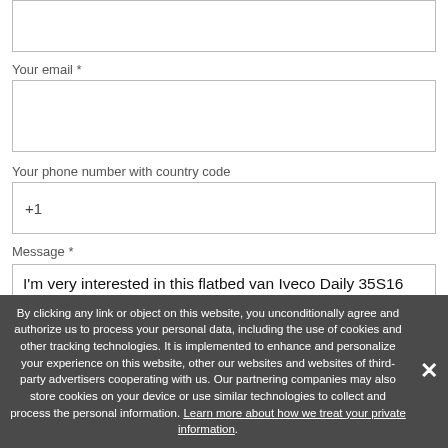[Figure (screenshot): Partial form field at top of page (empty input box, cropped)]
Your email *
[Figure (screenshot): Empty email input box]
Your phone number with country code
[Figure (screenshot): Phone number input box with placeholder +1]
Message *
I'm very interested in this flatbed van Iveco Daily 35S16 Doka 7-Sitze lang AHK KLIMA TEMPOMAT. It would be nice if you can offer me something similar to this item.
By clicking any link or object on this website, you unconditionally agree and authorize us to process your personal data, including the use of cookies and other tracking technologies. It is implemented to enhance and personalize your experience on this website, other our websites and websites of third-party advertisers cooperating with us. Our partnering companies may also store cookies on your device or use similar technologies to collect and process the personal information. Learn more about how we treat your private information.